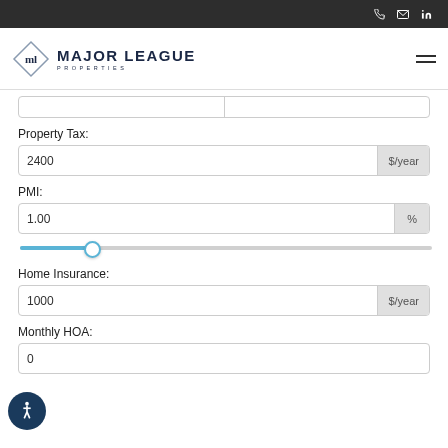Major League Properties - navigation bar with phone, email, linkedin icons
[Figure (logo): Major League Properties logo with diamond ML icon and navigation hamburger menu]
Property Tax:
2400 $/year
PMI:
1.00 %
Home Insurance:
1000 $/year
Monthly HOA:
0